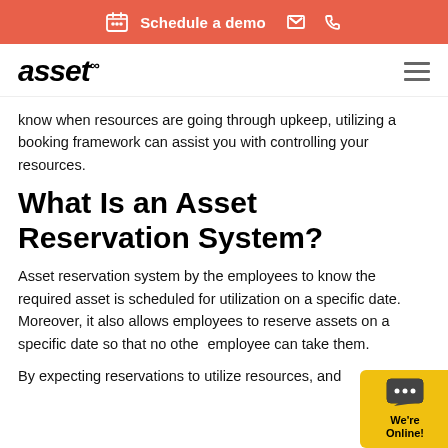Schedule a demo
[Figure (logo): asset∞ logo in bold italic black font]
know when resources are going through upkeep, utilizing a booking framework can assist you with controlling your resources.
What Is an Asset Reservation System?
Asset reservation system by the employees to know the required asset is scheduled for utilization on a specific date. Moreover, it also allows employees to reserve assets on a specific date so that no other employee can take them.
By expecting reservations to utilize resources, and
[Figure (illustration): Yellow chat widget in bottom right corner with speech bubble icon and text 'We're Online!']